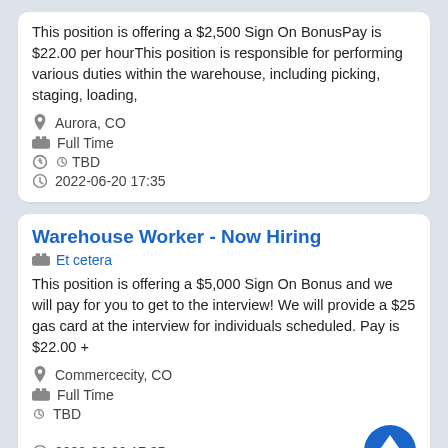This position is offering a $2,500 Sign On BonusPay is $22.00 per hourThis position is responsible for performing various duties within the warehouse, including picking, staging, loading,
Aurora, CO
Full Time
TBD
2022-06-20 17:35
Warehouse Worker - Now Hiring
Et cetera
This position is offering a $5,000 Sign On Bonus and we will pay for you to get to the interview! We will provide a $25 gas card at the interview for individuals scheduled. Pay is $22.00 +
Commercecity, CO
Full Time
TBD
2022-06-20 17:35
Warehouse Worker